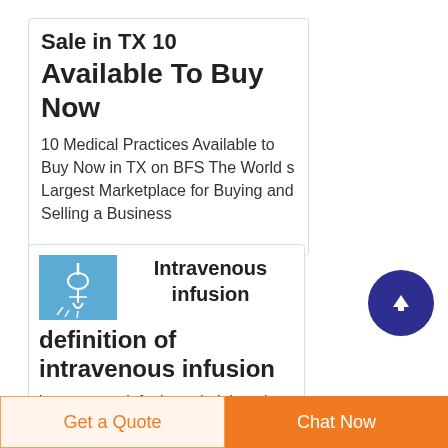Sale in TX 10
Available To Buy Now
10 Medical Practices Available to Buy Now in TX on BFS The World s Largest Marketplace for Buying and Selling a Business
[Figure (illustration): Blue square icon with white intravenous infusion/drip medical imagery]
Intravenous infusion definition of intravenous infusion
intravenous infusion administration of fluids into a vein by means of a steel
[Figure (other): Dark blue circular scroll-to-top button with white upward arrow]
Get a Quote  |  Chat Now